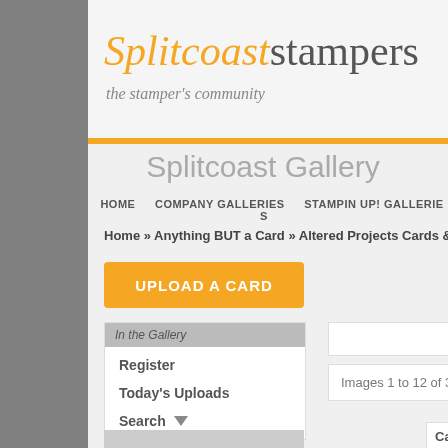Splitcoaststampers — the stamper's community
Splitcoast Gallery
HOME   COMPANY GALLERIES   STAMPIN UP! GALLERIES
Home » Anything BUT a Card » Altered Projects Cards & M
UPLOAD A CARD
In the Gallery
Register
Today's Uploads
Search
Images 1 to 12 of 3794
Category